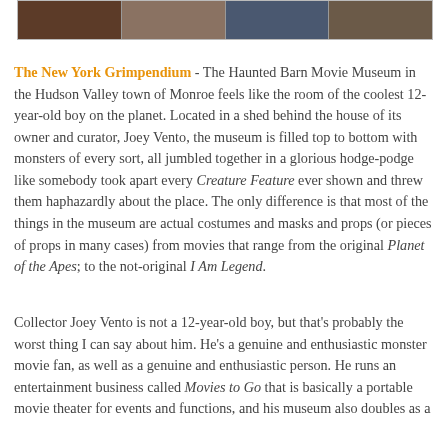[Figure (photo): Strip of movie/museum photos at top of page]
The New York Grimpendium - The Haunted Barn Movie Museum in the Hudson Valley town of Monroe feels like the room of the coolest 12-year-old boy on the planet. Located in a shed behind the house of its owner and curator, Joey Vento, the museum is filled top to bottom with monsters of every sort, all jumbled together in a glorious hodge-podge like somebody took apart every Creature Feature ever shown and threw them haphazardly about the place. The only difference is that most of the things in the museum are actual costumes and masks and props (or pieces of props in many cases) from movies that range from the original Planet of the Apes; to the not-original I Am Legend.
Collector Joey Vento is not a 12-year-old boy, but that's probably the worst thing I can say about him. He's a genuine and enthusiastic monster movie fan, as well as a genuine and enthusiastic person. He runs an entertainment business called Movies to Go that is basically a portable movie theater for events and functions, and his museum also doubles as a